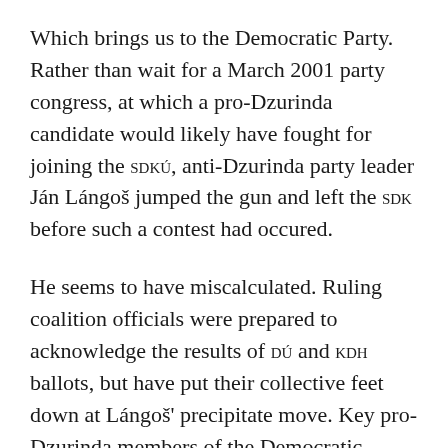Which brings us to the Democratic Party. Rather than wait for a March 2001 party congress, at which a pro-Dzurinda candidate would likely have fought for joining the SDKÚ, anti-Dzurinda party leader Ján Lángoš jumped the gun and left the SDK before such a contest had occured.
He seems to have miscalculated. Ruling coalition officials were prepared to acknowledge the results of DÚ and KDH ballots, but have put their collective feet down at Lángoš' precipitate move. Key pro-Dzurinda members of the Democratic Party, including influential and popular Deputy Prime Minister for Economy Ivan Mikloš, have distanced themselves from Lángoš and what they call his "hasty" decision - hasty less in the sense that he didn't give senior party functionaries a chance to approve it, than in the fact